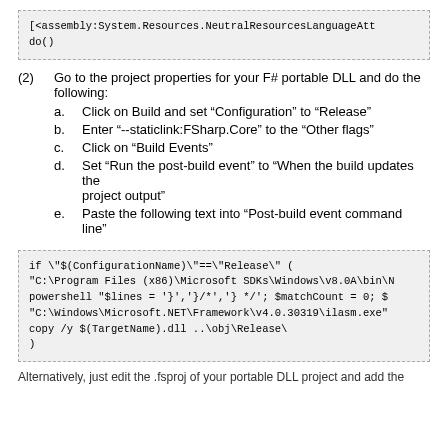[<assembly:System.Resources.NeutralResourcesLanguageAtt
do()
(2)   Go to the project properties for your F# portable DLL and do the following:
a.   Click on Build and set “Configuration” to “Release”
b.   Enter “--staticlink:FSharp.Core” to the “Other flags”
c.   Click on “Build Events”
d.   Set “Run the post-build event” to “When the build updates the project output”
e.   Paste the following text into “Post-build event command line”
if \"$(ConfigurationName)\"==\"Release\" (
"C:\Program Files (x86)\Microsoft SDKs\Windows\v8.0A\bin\N
powershell "$lines = '}','}/*','}*/'; $matchCount = 0; $
"C:\Windows\Microsoft.NET\Framework\v4.0.30319\ilasm.exe"
copy /y $(TargetName).dll ..\obj\Release\
)
Alternatively, just edit the .fsproj of your portable DLL project and add the